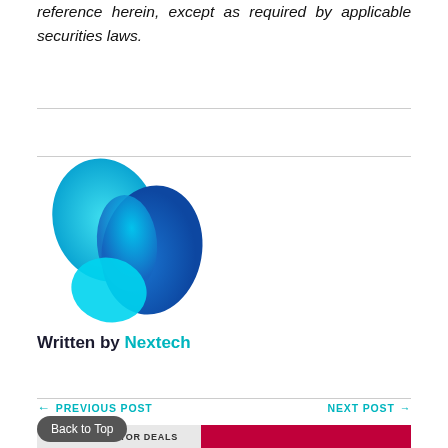reference herein, except as required by applicable securities laws.
[Figure (logo): Nextech company logo — a stylized letter N shape made of blue and cyan gradient fluid shapes]
Written by Nextech
← PREVIOUS POST
NEXT POST →
Back to Top
NEW DISTRIBUTOR DEALS